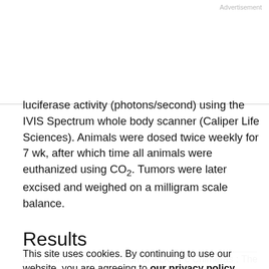Advertisement
luciferase activity (photons/second) using the IVIS Spectrum whole body scanner (Caliper Life Sciences). Animals were dosed twice weekly for 7 wk, after which time all animals were euthanized using CO₂. Tumors were later excised and weighed on a milligram scale balance.
Results
Expression and Purification of ALK1-Fc Chimeras : The ectodomains of murine ALK1 was fused to the Fc-encoding region of the murine IgG2A (Fig. 1A, 1), and
This site uses cookies. By continuing to use our website, you are agreeing to our privacy policy. Accept